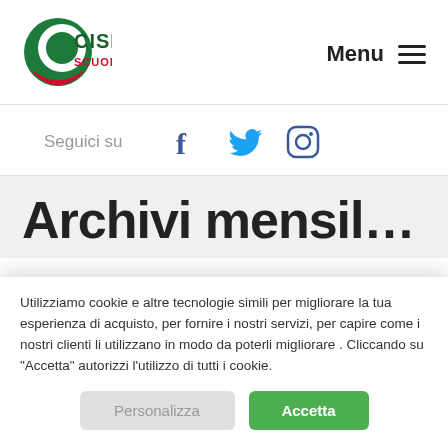[Figure (logo): CISL Scuola FVG logo — green circle with white C shape and red stripe, text 'CISL' in dark green and 'SCUOLA FVG' in red]
Menu ≡
Seguici su
[Figure (illustration): Social media icons: Facebook (f), Twitter (bird), Instagram (camera outline), in dark blue/grey]
Archivi mensil…
Utilizziamo cookie e altre tecnologie simili per migliorare la tua esperienza di acquisto, per fornire i nostri servizi, per capire come i nostri clienti li utilizzano in modo da poterli migliorare . Cliccando su "Accetta" autorizzi l'utilizzo di tutti i cookie.
Personalizza
Accetta